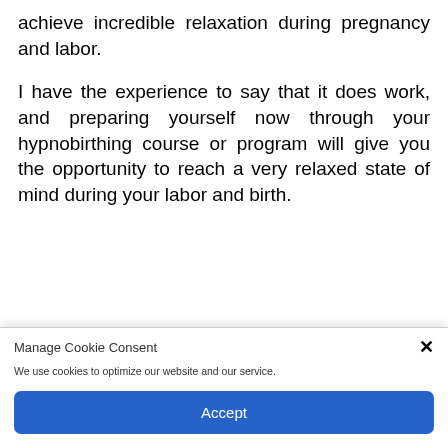achieve incredible relaxation during pregnancy and labor.
I have the experience to say that it does work, and preparing yourself now through your hypnobirthing course or program will give you the opportunity to reach a very relaxed state of mind during your labor and birth.
Manage Cookie Consent
We use cookies to optimize our website and our service.
Accept